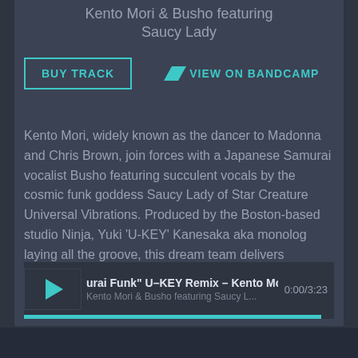Kento Mori & Busho featuring Saucy Lady
BUY TRACK   VIEW ON BANDCAMP
Kento Mori, widely known as the dancer to Madonna and Chris Brown, join forces with a Japanese Samurai vocalist Busho featuring succulent vocals by the cosmic funk goddess Saucy Lady of Star Creature Universal Vibrations. Produced by the Boston-based studio Ninja, Yuki 'U-KEY' Kanesaka aka monolog laying all the groove, this dream team delivers
Read more...
[Figure (screenshot): Music player widget showing track 'urai Funk" U-KEY Remix - Kento Mori & B' by 'Kento Mori & Busho featuring Saucy L...' at 0:00/3:23 with a cyan progress bar nearly full.]